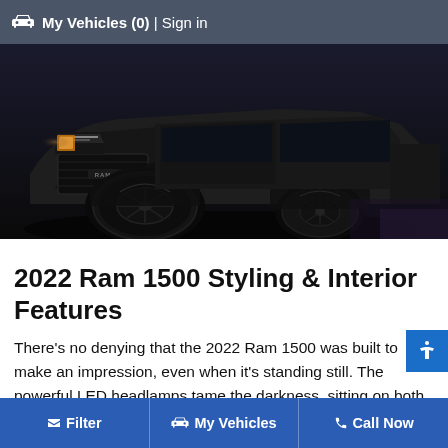🚗 My Vehicles (0) | Sign in
[Figure (photo): Dark photo of a 2022 Ram 1500 truck showing LED headlamps, prominent front grille, and large off-road tires with white lettering, photographed at night or in low light conditions.]
2022 Ram 1500 Styling & Interior Features
There's no denying that the 2022 Ram 1500 was built to make an impression, even when it's standing still. The powerful LED headlamps tame the darkness, sitting on both sides of the prominent grille that carries the familiar Ram
Filter | My Vehicles | Call Now